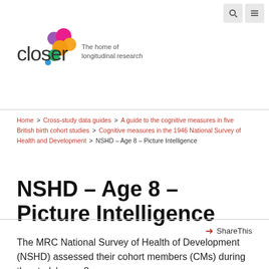[Figure (logo): CLOSER logo with coloured circles and tagline 'The home of longitudinal research']
Home > Cross-study data guides > A guide to the cognitive measures in five British birth cohort studies > Cognitive measures in the 1946 National Survey of Health and Development > NSHD – Age 8 – Picture Intelligence
NSHD – Age 8 – Picture Intelligence
ShareThis
The MRC National Survey of Health of Development (NSHD) assessed their cohort members (CMs) during the study's age 8